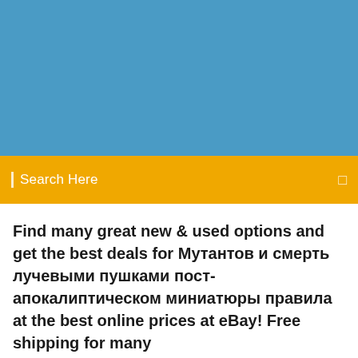[Figure (other): Blue header banner background]
Search Here
Find many great new & used options and get the best deals for Мутантов и смерть лучевыми пушками пост-апокалиптическом миниатюры правила at the best online prices at eBay! Free shipping for many
online pdf format Punisher MAX: Born, ^^pdf download Punisher MAX: Born, ^^ Download Free Punisher MAX: People who advocate for gun control have to  |